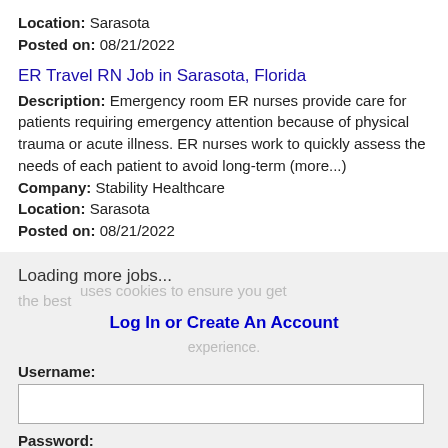Location: Sarasota
Posted on: 08/21/2022
ER Travel RN Job in Sarasota, Florida
Description: Emergency room ER nurses provide care for patients requiring emergency attention because of physical trauma or acute illness. ER nurses work to quickly assess the needs of each patient to avoid long-term (more...)
Company: Stability Healthcare
Location: Sarasota
Posted on: 08/21/2022
Loading more jobs...
Log In or Create An Account
Username:
Password: